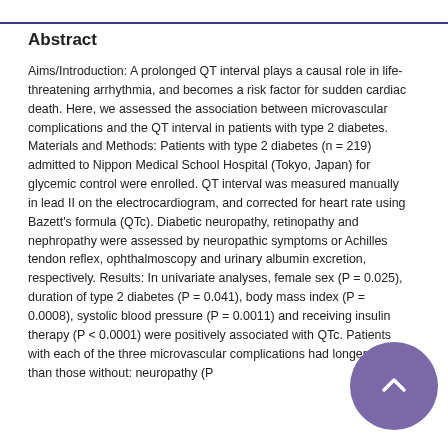Abstract
Aims/Introduction: A prolonged QT interval plays a causal role in life-threatening arrhythmia, and becomes a risk factor for sudden cardiac death. Here, we assessed the association between microvascular complications and the QT interval in patients with type 2 diabetes. Materials and Methods: Patients with type 2 diabetes (n = 219) admitted to Nippon Medical School Hospital (Tokyo, Japan) for glycemic control were enrolled. QT interval was measured manually in lead II on the electrocardiogram, and corrected for heart rate using Bazett's formula (QTc). Diabetic neuropathy, retinopathy and nephropathy were assessed by neuropathic symptoms or Achilles tendon reflex, ophthalmoscopy and urinary albumin excretion, respectively. Results: In univariate analyses, female sex (P = 0.025), duration of type 2 diabetes (P = 0.041), body mass index (P = 0.0008), systolic blood pressure (P = 0.0011) and receiving insulin therapy (P < 0.0001) were positively associated with QTc. Patients with each of the three microvascular complications had longer QTc than those without: neuropathy (P